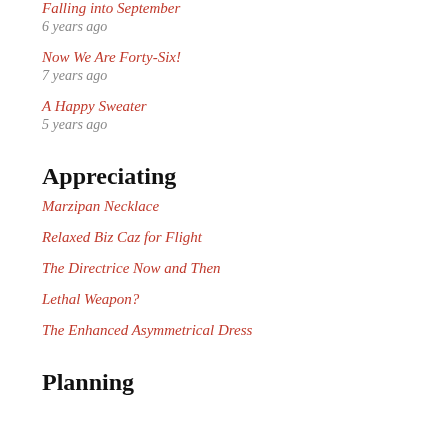Falling into September
6 years ago
Now We Are Forty-Six!
7 years ago
A Happy Sweater
5 years ago
Appreciating
Marzipan Necklace
Relaxed Biz Caz for Flight
The Directrice Now and Then
Lethal Weapon?
The Enhanced Asymmetrical Dress
Planning